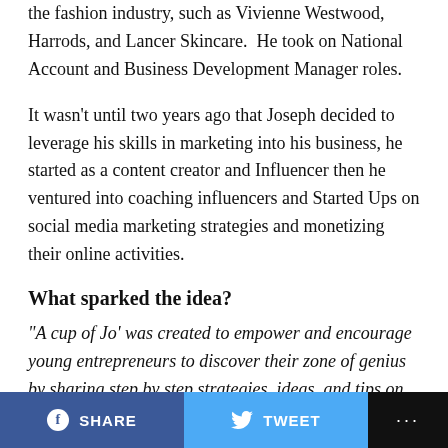the fashion industry, such as Vivienne Westwood, Harrods, and Lancer Skincare.  He took on National Account and Business Development Manager roles.
It wasn't until two years ago that Joseph decided to leverage his skills in marketing into his business, he started as a content creator and Influencer then he ventured into coaching influencers and Started Ups on social media marketing strategies and monetizing their online activities.
What sparked the idea?
“A cup of Jo’ was created to empower and encourage young entrepreneurs to discover their zone of genius by sharing step by step strategies, ideas, and tips on how to build a profitable online brand.
SHARE   TWEET   ...